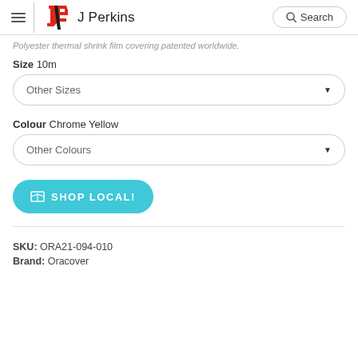J Perkins
Polyester thermal shrink film covering patented worldwide.
Size 10m
Other Sizes
Colour Chrome Yellow
Other Colours
SHOP LOCAL!
SKU: ORA21-094-010
Brand: Oracover